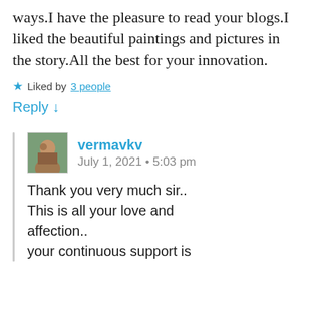ways.I have the pleasure to read your blogs.I liked the beautiful paintings and pictures in the story.All the best for your innovation.
★ Liked by 3 people
Reply ↓
vermavkv
July 1, 2021 • 5:03 pm
Thank you very much sir.. This is all your love and affection.. your continuous support is